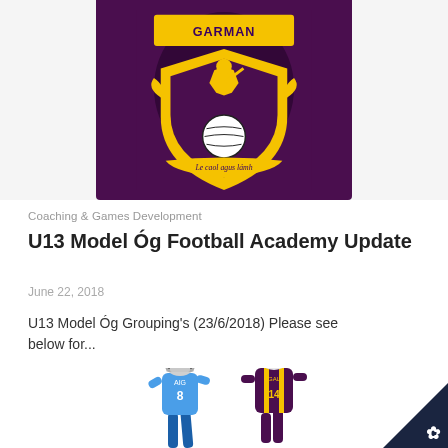[Figure (photo): Wexford GAA jersey showing the county crest on a purple background with yellow and black design. Crest features a hurler and the motto 'Le caol agus lámh']
Coaching & Games Development
U13 Model Óg Football Academy Update
June 22, 2018
U13 Model Óg Grouping's (23/6/2018) Please see below for...
[Figure (photo): Two hurling players in action — one in blue Dublin jersey (number 8, AIG sponsor) and one in purple and yellow Wexford jersey (number 14). Both wearing helmets with face guards.]